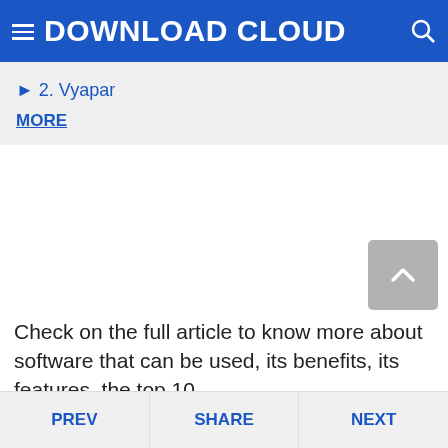DOWNLOAD CLOUD
▶ 2. Vyapar
MORE
Check on the full article to know more about software that can be used, its benefits, its features, the top 10
PREV | SHARE | NEXT